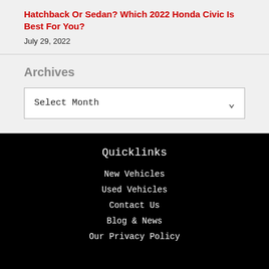Hatchback Or Sedan? Which 2022 Honda Civic Is Best For You?
July 29, 2022
Archives
Select Month
Quicklinks
New Vehicles
Used Vehicles
Contact Us
Blog & News
Our Privacy Policy